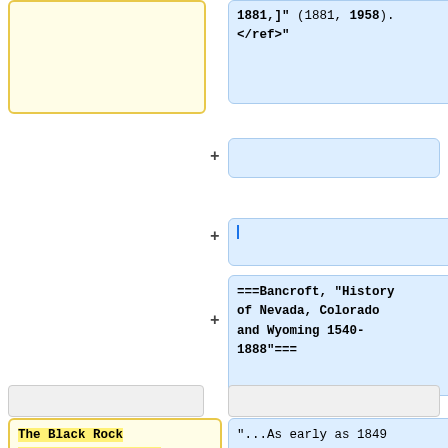[Figure (screenshot): Wikipedia diff view screenshot showing two columns: left (yellow/old) and right (blue/new) with markup content about Black Rock Prospectors and Bancroft history reference.]
1881,]" (1881, 1958). </ref>"
===Bancroft, "History of Nevada, Colorado and Wyoming 1540-1888"===
The Black Rock Prospectors. In the summer of 1849, Allen Harding and two other parties, whose names are not known, at daylight one morning, left the emigrant road to hunt for
"...As early as 1849 an immigrant named Hardin, while hunting with two other men, discovered silver in the [[Black Rock range]], in the Humboldt country, one and a half miles from